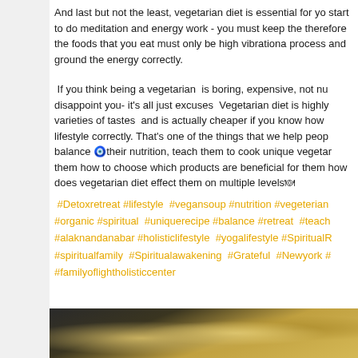And last but not the least, vegetarian diet is essential for you start to do meditation and energy work - you must keep the therefore the foods that you eat must only be high vibrationa process and ground the energy correctly.
If you think being a vegetarian  is boring, expensive, not nu disappoint you- it's all just excuses  Vegetarian diet is highly varieties of tastes  and is actually cheaper if you know how lifestyle correctly. That's one of the things that we help peop balance 🌀their nutrition, teach them to cook unique vegetar them how to choose which products are beneficial for them how does vegetarian diet effect them on multiple levels🍽
#Detoxretreat #lifestyle  #vegansoup #nutrition #vegeterian #organic #spiritual  #uniquerecipe #balance #retreat  #teach #alaknandanabar #holisticlifestyle  #yogalifestyle #SpiritualR #spiritualfamily  #Spiritualawakening  #Grateful  #Newyork # #familyoflightholisticcenter
[Figure (photo): Bottom strip showing a blurred photo of food items, appearing to be yellow/golden colored food on a plate or surface, with dark background elements.]